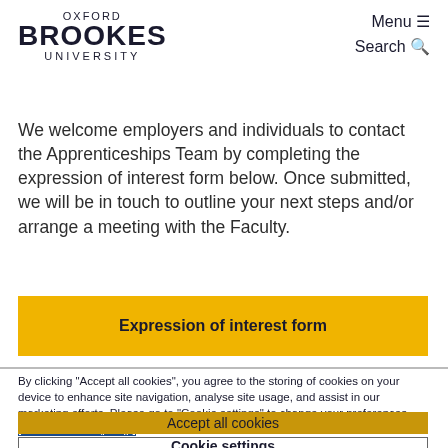OXFORD BROOKES UNIVERSITY — Menu ≡ Search 🔍
We welcome employers and individuals to contact the Apprenticeships Team by completing the expression of interest form below. Once submitted, we will be in touch to outline your next steps and/or arrange a meeting with the Faculty.
Expression of interest form
By clicking "Accept all cookies", you agree to the storing of cookies on your device to enhance site navigation, analyse site usage, and assist in our marketing efforts. Please go to "Cookie settings" to change your preferences. See our cookie policy.
Accept all cookies
Cookie settings